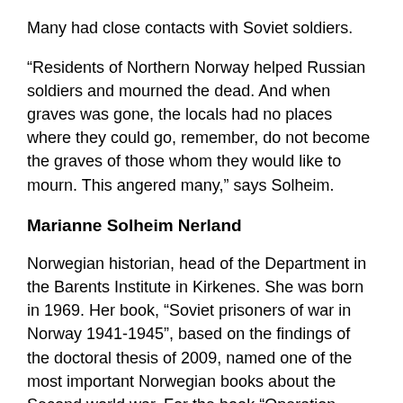Many had close contacts with Soviet soldiers.
“Residents of Northern Norway helped Russian soldiers and mourned the dead. And when graves was gone, the locals had no places where they could go, remember, do not become the graves of those whom they would like to mourn. This angered many,” says Solheim.
Marianne Solheim Nerland
Norwegian historian, head of the Department in the Barents Institute in Kirkenes. She was born in 1969. Her book, “Soviet prisoners of war in Norway 1941-1945”, based on the findings of the doctoral thesis of 2009, named one of the most important Norwegian books about the Second world war. For the book “Operation Asphalt” of Russian military graves in Northern Norway, today awarded the prize for best